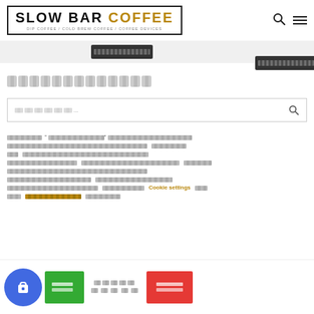SLOW BAR COFFEE - DIP COFFEE / COLD BREW COFFEE / COFFEE DEVICES
[Figure (screenshot): Two dark redacted buttons in a row on a light gray background]
[redacted heading text]
[Figure (screenshot): Search bar with redacted placeholder text and search icon]
[Redacted Thai/Asian language body text paragraph with Cookie settings link and underlined link]
[Figure (screenshot): Cookie consent bar with blue circular logo icon, green accept button with redacted text, settings label with redacted text, and red reject button with redacted text]